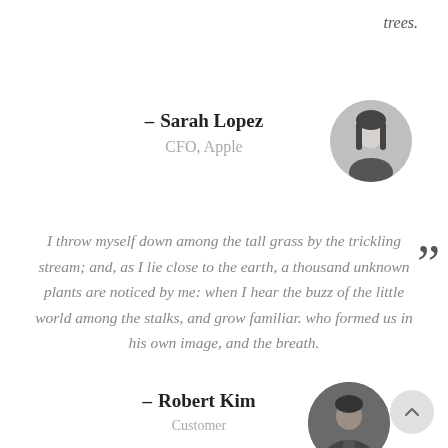trees.
– Sarah Lopez
CFO, Apple
[Figure (photo): Circular avatar photo of Sarah Lopez, a woman with dark hair, black and white]
I throw myself down among the tall grass by the trickling stream; and, as I lie close to the earth, a thousand unknown plants are noticed by me: when I hear the buzz of the little world among the stalks, and grow familiar. who formed us in his own image, and the breath.
– Robert Kim
Customer
[Figure (photo): Circular avatar photo of Robert Kim, a man, dark toned photo]